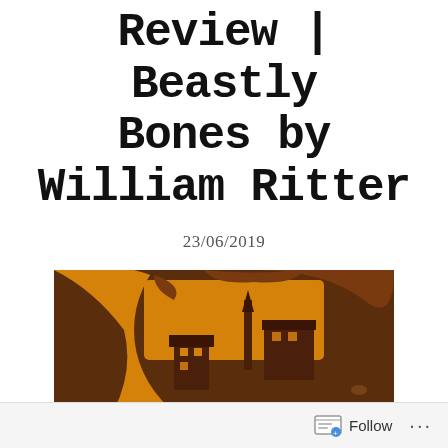Review | Beastly Bones by William Ritter
23/06/2019
[Figure (illustration): Book cover of Beastly Bones by William Ritter, showing a silhouette of a person's head in profile with a golden/amber background, overlaid with a village scene featuring buildings and a tower, and a small figure in a blue coat running in the foreground.]
Follow ···